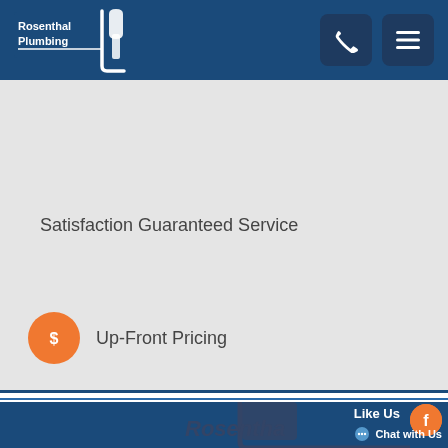[Figure (logo): Rosenthal Plumbing logo with faucet icon, white text on dark blue background]
[Figure (other): Phone icon button and hamburger menu icon button in dark navy square buttons]
Satisfaction Guaranteed Service
[Figure (other): Orange circle with dollar sign icon]
Up-Front Pricing
Like Us
[Figure (logo): Facebook icon in orange circle]
Chat with Us
[Figure (logo): Rosenthal Plumbing logo at bottom of page]